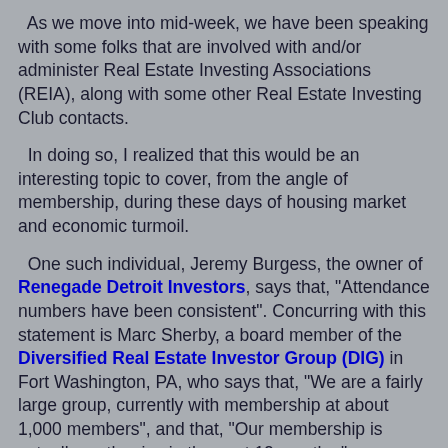As we move into mid-week, we have been speaking with some folks that are involved with and/or administer Real Estate Investing Associations (REIA), along with some other Real Estate Investing Club contacts.
In doing so, I realized that this would be an interesting topic to cover, from the angle of membership, during these days of housing market and economic turmoil.
One such individual, Jeremy Burgess, the owner of Renegade Detroit Investors, says that, "Attendance numbers have been consistent". Concurring with this statement is Marc Sherby, a board member of the Diversified Real Estate Investor Group (DIG) in Fort Washington, PA, who says that, "We are a fairly large group, currently with membership at about 1,000 members", and that, "Our membership is actually on the rise in the past 12 months."
Burgess goes on to say that they are getting less "beginning real estate investors and more experienced real estate investors". He says that the more expert investors are